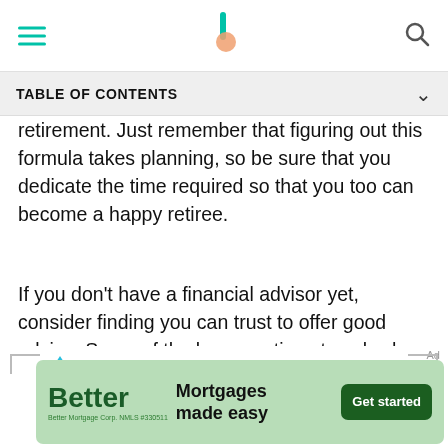TABLE OF CONTENTS
retirement. Just remember that figuring out this formula takes planning, so be sure that you dedicate the time required so that you too can become a happy retiree.
If you don't have a financial advisor yet, consider finding you can trust to offer good advice. Some of the key questions to ask when choosing a financial advisor center on how they like to communicate, the types of services they offer, the typical kind of clients they work with and their overall investment strategy.
[Figure (other): Better Mortgage advertisement banner: 'Better — Mortgages made easy — Get started' with Better Mortgage Corp NMLS #330511 fine print.]